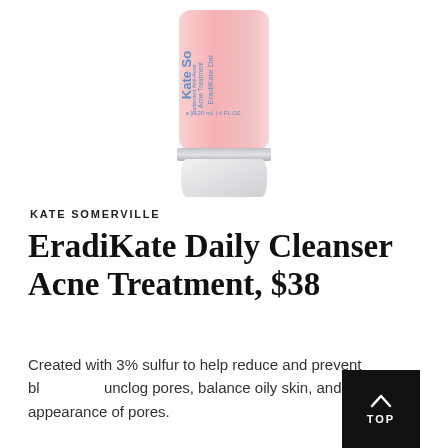[Figure (photo): A pink squeeze tube of Kate Somerville EradiKate Daily Acne Treatment cleanser with a white cap, photographed against a white background.]
KATE SOMERVILLE
EradiKate Daily Cleanser Acne Treatment, $38
Created with 3% sulfur to help reduce and prevent blemishes, unclog pores, balance oily skin, and minimize appearance of pores.